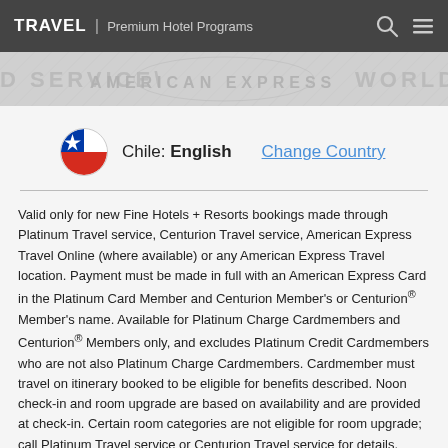TRAVEL | Premium Hotel Programs
[Figure (illustration): American Express watermark banner with decorative text 'WORLD SERVICE' and 'AMERICAN EXPRESS' in light gray on gray background]
Chile: English   Change Country
Valid only for new Fine Hotels + Resorts bookings made through Platinum Travel service, Centurion Travel service, American Express Travel Online (where available) or any American Express Travel location. Payment must be made in full with an American Express Card in the Platinum Card Member and Centurion Member's or Centurion® Member's name. Available for Platinum Charge Cardmembers and Centurion® Members only, and excludes Platinum Credit Cardmembers who are not also Platinum Charge Cardmembers. Cardmember must travel on itinerary booked to be eligible for benefits described. Noon check-in and room upgrade are based on availability and are provided at check-in. Certain room categories are not eligible for room upgrade; call Platinum Travel service or Centurion Travel service for details. Breakfast amenity varies by property, but will be, at a minimum, a Continental breakfast. Complimentary In-Room Wi-Fi is provided